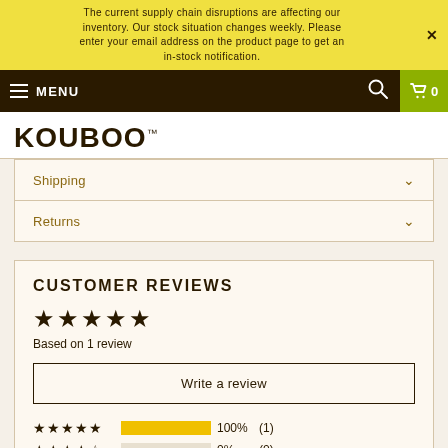The current supply chain disruptions are affecting our inventory. Our stock situation changes weekly. Please enter your email address on the product page to get an in-stock notification.
MENU  [search icon]  [cart icon] 0
KOUBOO™
Shipping
Returns
CUSTOMER REVIEWS
★★★★★
Based on 1 review
Write a review
★★★★★  100%  (1)
★★★★☆  0%  (0)